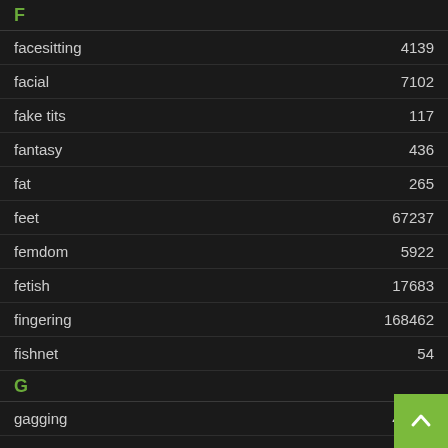F
facesitting 4139
facial 7102
fake tits 117
fantasy 436
fat 265
feet 67237
femdom 5922
fetish 17683
fingering 168462
fishnet 54
G
gagging 40388
gamer 1166
gangbang 71
geek